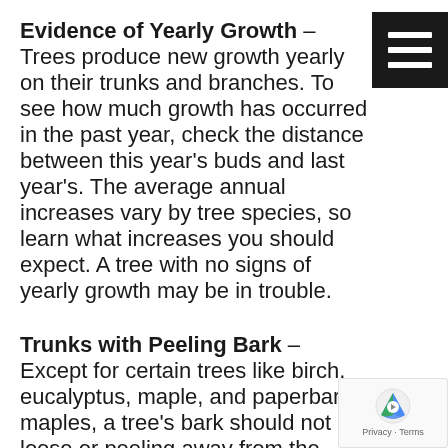Evidence of Yearly Growth
Trees produce new growth yearly on their trunks and branches. To see how much growth has occurred in the past year, check the distance between this year's buds and last year's. The average annual increases vary by tree species, so learn what increases you should expect. A tree with no signs of yearly growth may be in trouble.
Trunks with Peeling Bark
Except for certain trees like birch, eucalyptus, maple, and paperbark maples, a tree's bark should not be loose or peeling away from the wood underneath.
NO fungi should be growing on the trunk. Be careful when using garden